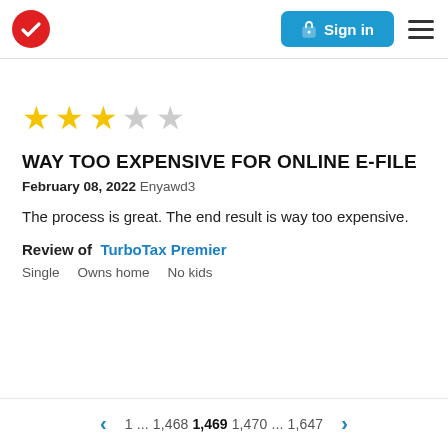TurboTax logo | Sign in | Menu
[Figure (other): 3 filled gold stars and 2 empty grey stars indicating a 3 out of 5 rating]
WAY TOO EXPENSIVE FOR ONLINE E-FILE
February 08, 2022 Enyawd3
The process is great. The end result is way too expensive.
Review of TurboTax Premier
Single    Owns home    No kids
< 1 ... 1,468 1,469 1,470 ... 1,647 >